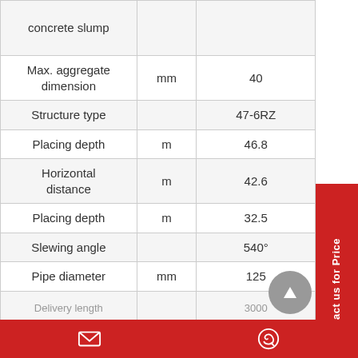| Parameter | Unit | Value |
| --- | --- | --- |
| concrete slump |  |  |
| Max. aggregate dimension | mm | 40 |
| Structure type |  | 47-6RZ |
| Placing depth | m | 46.8 |
| Horizontal distance | m | 42.6 |
| Placing depth | m | 32.5 |
| Slewing angle |  | 540° |
| Pipe diameter | mm | 125 |
| Delivery length |  | 3000+ |